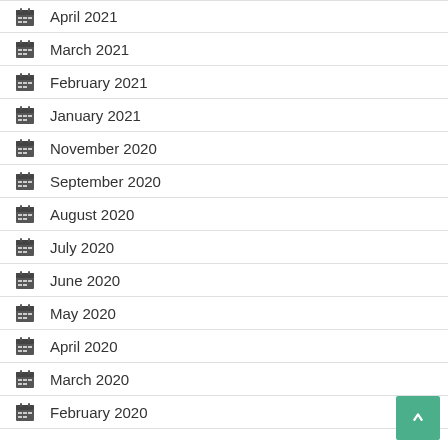April 2021
March 2021
February 2021
January 2021
November 2020
September 2020
August 2020
July 2020
June 2020
May 2020
April 2020
March 2020
February 2020